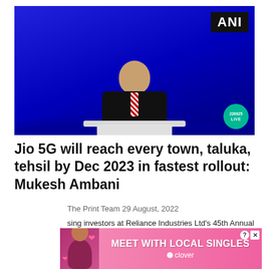[Figure (photo): Man in dark suit with red striped tie standing at a podium against a blue background. ANI news logo in top right corner. Live viewer count badge (226925) in bottom right.]
Jio 5G will reach every town, taluka, tehsil by Dec 2023 in fastest rollout: Mukesh Ambani
The Print Team 29 August, 2022
Addressing investors at Reliance Industries Ltd's 45th Annual General Meeting, the billionaire said the company was committed to making...
[Figure (advertisement): MEET WITH LOCAL SINGLES ad banner by Clover app, pink gradient background with photo of woman with headset]